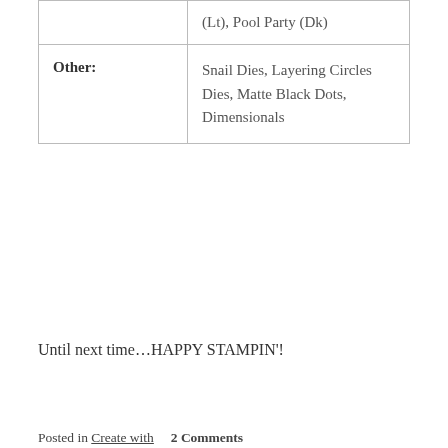|  | (Lt), Pool Party (Dk) |
| Other: | Snail Dies, Layering Circles Dies, Matte Black Dots, Dimensionals |
Until next time…HAPPY STAMPIN'!
[Figure (illustration): Signature graphic with ink splatter in purple and teal colors and cursive 'Mary' text in black]
Posted in Create with    2 Comments